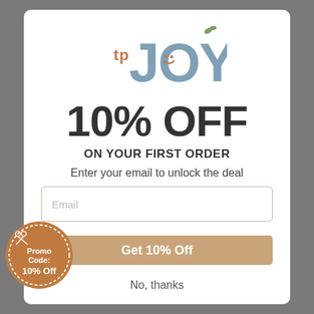[Figure (logo): TP JOY logo with smiley face and decorative leaves, blue-grey and brown colors]
10% OFF
ON YOUR FIRST ORDER
Enter your email to unlock the deal
Email (input field placeholder)
Get 10% Off (button)
No, thanks
[Figure (other): Circular promo badge with dashed border, scissors icon, text: Promo Code: 10% Off]